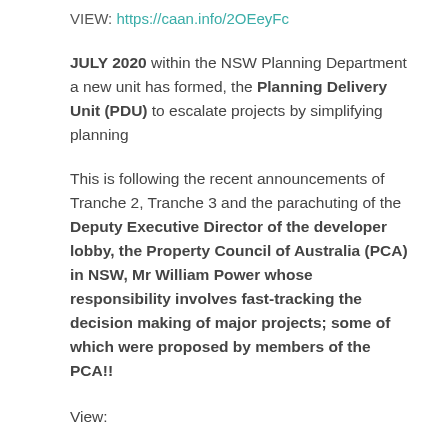VIEW: https://caan.info/2OEeyFc
JULY 2020 within the NSW Planning Department a new unit has formed, the Planning Delivery Unit (PDU) to escalate projects by simplifying planning
This is following the recent announcements of Tranche 2, Tranche 3 and the parachuting of the Deputy Executive Director of the developer lobby, the Property Council of Australia (PCA) in NSW, Mr William Power whose responsibility involves fast-tracking the decision making of major projects; some of which were proposed by members of the PCA!!
View:
https://caanhousinginequalitywithaussieslockedout.com/202